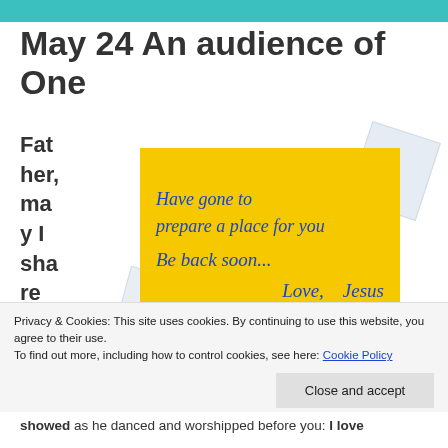May 24 An audience of One
Father, may I share the joy
[Figure (illustration): Yellow note card with blue cursive text reading: 'Have gone to prepare a place for you. Be back soon... Love, Jesus', with tape pieces at corners]
Privacy & Cookies: This site uses cookies. By continuing to use this website, you agree to their use. To find out more, including how to control cookies, see here: Cookie Policy
showed as he danced and worshipped before you: I love